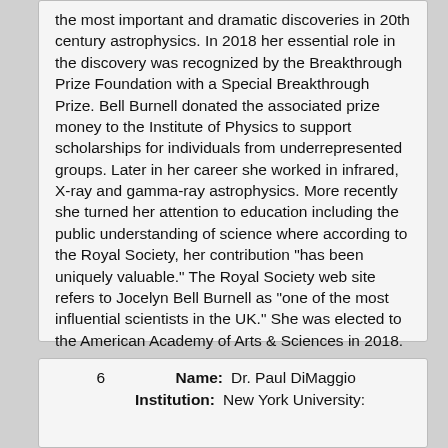the most important and dramatic discoveries in 20th century astrophysics. In 2018 her essential role in the discovery was recognized by the Breakthrough Prize Foundation with a Special Breakthrough Prize. Bell Burnell donated the associated prize money to the Institute of Physics to support scholarships for individuals from underrepresented groups. Later in her career she worked in infrared, X-ray and gamma-ray astrophysics. More recently she turned her attention to education including the public understanding of science where according to the Royal Society, her contribution "has been uniquely valuable." The Royal Society web site refers to Jocelyn Bell Burnell as "one of the most influential scientists in the UK." She was elected to the American Academy of Arts & Sciences in 2018.
6  Name: Dr. Paul DiMaggio  Institution: New York University: